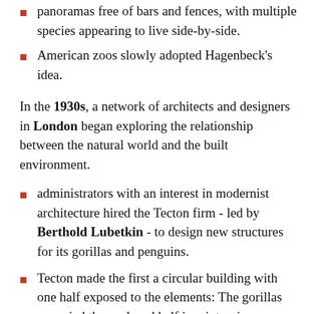panoramas free of bars and fences, with multiple species appearing to live side-by-side.
American zoos slowly adopted Hagenbeck's idea.
In the 1930s, a network of architects and designers in London began exploring the relationship between the natural world and the built environment.
administrators with an interest in modernist architecture hired the Tecton firm - led by Berthold Lubetkin - to design new structures for its gorillas and penguins.
Tecton made the first a circular building with one half exposed to the elements: The gorillas occupied the enclosed half in winter; in